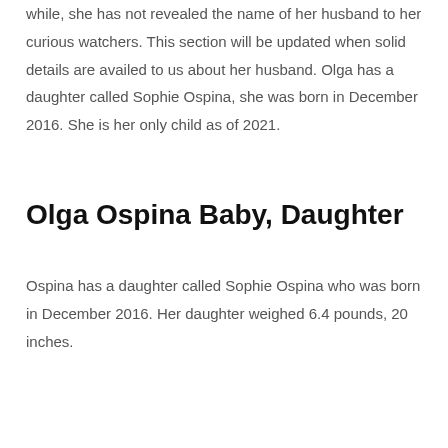while, she has not revealed the name of her husband to her curious watchers. This section will be updated when solid details are availed to us about her husband. Olga has a daughter called Sophie Ospina, she was born in December 2016. She is her only child as of 2021.
Olga Ospina Baby, Daughter
Ospina has a daughter called Sophie Ospina who was born in December 2016. Her daughter weighed 6.4 pounds, 20 inches.